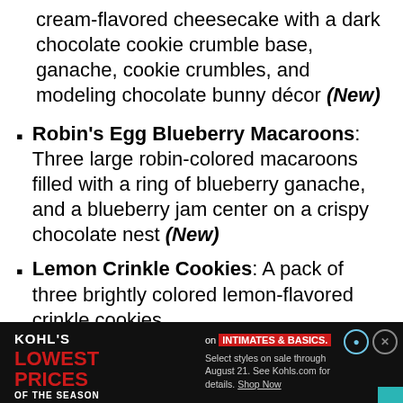cream-flavored cheesecake with a dark chocolate cookie crumble base, ganache, cookie crumbles, and modeling chocolate bunny décor (New)
Robin's Egg Blueberry Macaroons: Three large robin-colored macaroons filled with a ring of blueberry ganache, and a blueberry jam center on a crispy chocolate nest (New)
Lemon Crinkle Cookies: A pack of three brightly colored lemon-flavored crinkle cookies
[Figure (infographic): Kohl's advertisement banner: KOHL'S LOWEST PRICES OF THE SEASON. Text: on INTIMATES & BASICS. Select styles on sale through August 21. See Kohls.com for details. Shop Now]